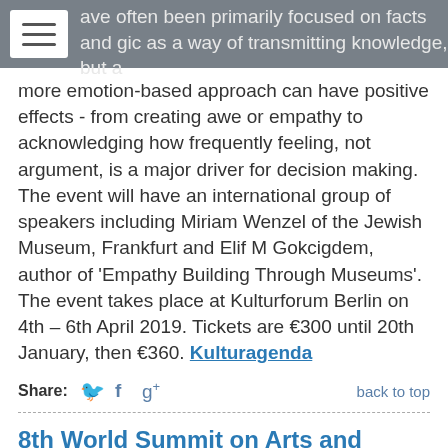ave often been primarily focused on facts and gic as a way of transmitting knowledge, but a more emotion-based approach can have positive effects - from creating awe or empathy to acknowledging how frequently feeling, not argument, is a major driver for decision making. The event will have an international group of speakers including Miriam Wenzel of the Jewish Museum, Frankfurt and Elif M Gokcigdem, author of 'Empathy Building Through Museums'. The event takes place at Kulturforum Berlin on 4th – 6th April 2019. Tickets are €300 until 20th January, then €360. Kulturagenda
Share: [Twitter] [Facebook] [Google+]    back to top
8th World Summit on Arts and Culture
Cultural bodies internationally are facing a future